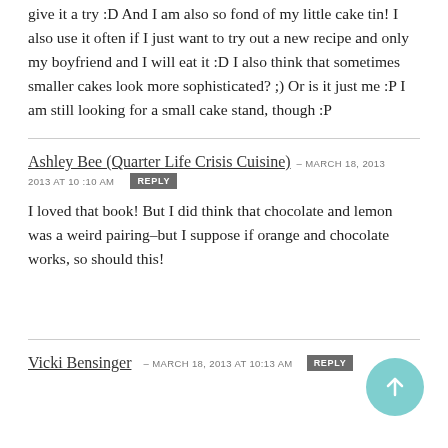give it a try :D And I am also so fond of my little cake tin! I also use it often if I just want to try out a new recipe and only my boyfriend and I will eat it :D I also think that sometimes smaller cakes look more sophisticated? ;) Or is it just me :P I am still looking for a small cake stand, though :P
Ashley Bee (Quarter Life Crisis Cuisine) – MARCH 18, 2013 at 10:10 AM  REPLY
I loved that book! But I did think that chocolate and lemon was a weird pairing–but I suppose if orange and chocolate works, so should this!
Vicki Bensinger – MARCH 18, 2013 at 10:13 AM  REPLY